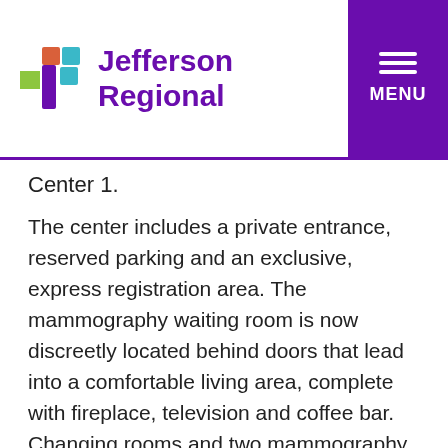[Figure (logo): Jefferson Regional hospital logo with colorful cross icon and purple text, plus purple MENU button with hamburger icon in top right]
Center 1.
The center includes a private entrance, reserved parking and an exclusive, express registration area. The mammography waiting room is now discreetly located behind doors that lead into a comfortable living area, complete with fireplace, television and coffee bar. Changing rooms and two mammography suites are located off the waiting area, and ultrasound has been moved so patients no longer have to re-dress and visit a second location if an ultrasound is needed. Video screens with soothing outdoor scenes are mounted in each mammography room, and music will be piped in, as well. According to Wayne Harris, Director of Imaging